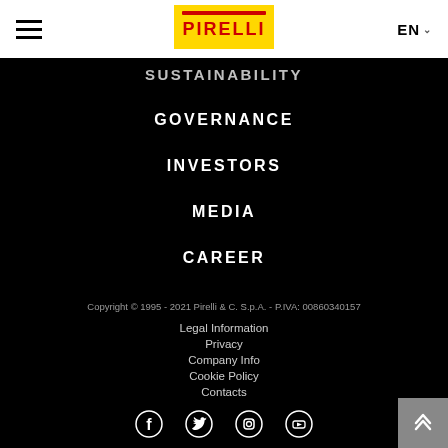Pirelli website header with hamburger menu, Pirelli logo, and EN language selector
SUSTAINABILITY
GOVERNANCE
INVESTORS
MEDIA
CAREER
INSTITUTIONAL RELATIONS
Copyright © 1995 - 2021 Pirelli & C. S.p.A. - P.IVA: 00860340157
Legal Information
Privacy
Company Info
Cookie Policy
Contacts
[Figure (illustration): Social media icons: Facebook, Twitter, Instagram, YouTube]